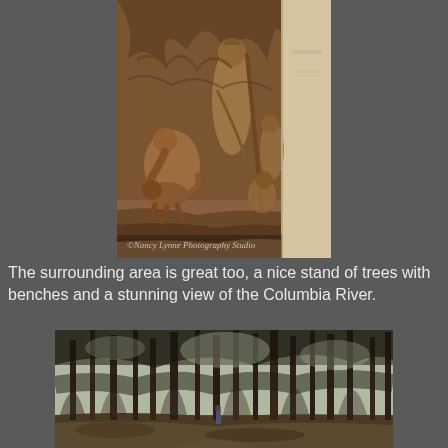[Figure (photo): Close-up photograph of a bronze relief sculpture depicting explorers/pioneers with a dog and other figures, watermarked '©Nancy Lynne Photography Studio']
The surrounding area is great too, a nice stand of trees with benches and a stunning view of the Columbia River.
[Figure (photo): Photograph of a forest of tall trees with a person visible in the distance on a dirt path, overcast sky visible through the canopy]